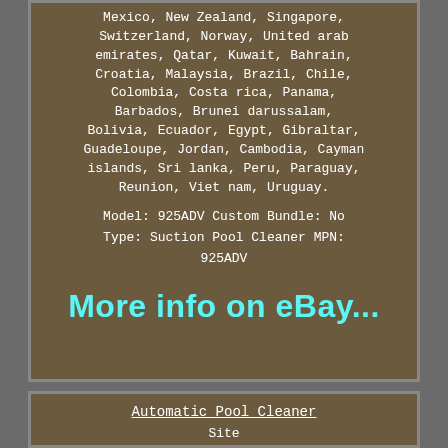Mexico, New Zealand, Singapore, Switzerland, Norway, United arab emirates, Qatar, Kuwait, Bahrain, Croatia, Malaysia, Brazil, Chile, Colombia, Costa rica, Panama, Barbados, Brunei darussalam, Bolivia, Ecuador, Egypt, Gibraltar, Guadeloupe, Jordan, Cambodia, Cayman islands, Sri lanka, Peru, Paraguay, Reunion, Viet nam, Uruguay.
Model: 925ADV Custom Bundle: No Type: Suction Pool Cleaner MPN: 925ADV
[Figure (screenshot): eBay link button showing 'More info on eBay...' in large cyan bold text]
Automatic Pool Cleaner
Site